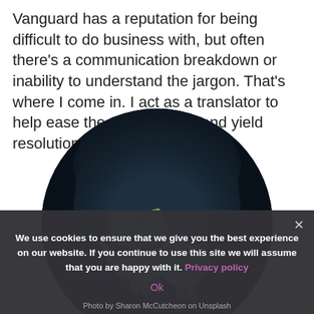Vanguard has a reputation for being difficult to do business with, but often there's a communication breakdown or inability to understand the jargon. That's where I come in. I act as a translator to help ease the conversation and yield resolution.
[Figure (photo): A person holding and counting US dollar bills, shown in a dark, moody style. The image is cropped in a circle.]
We use cookies to ensure that we give you the best experience on our website. If you continue to use this site we will assume that you are happy with it. Privacy policy
Photo by Sharon McCutcheon on Unsplash